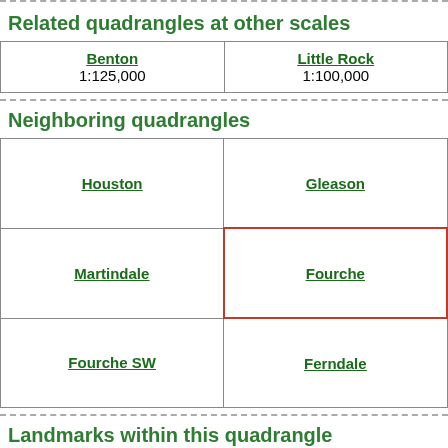Related quadrangles at other scales
| Benton
1:125,000 | Little Rock
1:100,000 |
| --- | --- |
Neighboring quadrangles
| Houston | Gleason |
| Martindale | Fourche |
| Fourche SW | Ferndale |
Landmarks within this quadrangle
Kenney, Arkansas (Placename)
Providence, Arkansas (Placename)